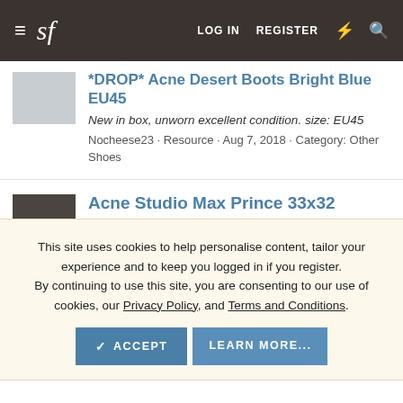≡ sf  LOG IN  REGISTER  ⚡ 🔍
*DROP* Acne Desert Boots Bright Blue EU45
New in box, unworn excellent condition. size: EU45
Nocheese23 · Resource · Aug 7, 2018 · Category: Other Shoes
Acne Studio Max Prince 33x32
This site uses cookies to help personalise content, tailor your experience and to keep you logged in if you register.
By continuing to use this site, you are consenting to our use of cookies, our Privacy Policy, and Terms and Conditions.
✓ ACCEPT   LEARN MORE...
Original Price-$352.00 Wool/Alpaca Mix, ultra soft and plush. Regular Fit Brand new w/o tags Tag size is 48 Shoulders : 48cm Armpit : 57cm Back length : 68cm Item is located in France.
bastjo · Resource · Jan 26, 2018 · Category: Pullover Sweaters and Knits